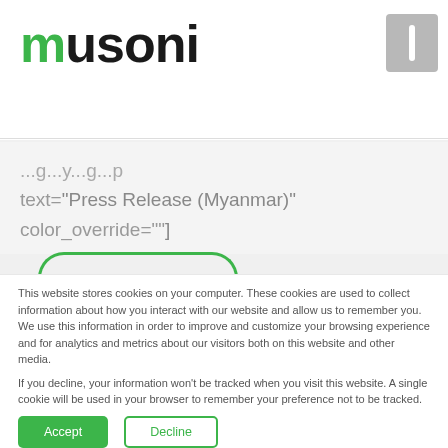[Figure (logo): Musoni logo with green 'm' character and dark grey 'usoni' text]
text="Press Release (Myanmar)" color_override=""
This website stores cookies on your computer. These cookies are used to collect information about how you interact with our website and allow us to remember you. We use this information in order to improve and customize your browsing experience and for analytics and metrics about our visitors both on this website and other media.

If you decline, your information won't be tracked when you visit this website. A single cookie will be used in your browser to remember your preference not to be tracked.
Accept
Decline